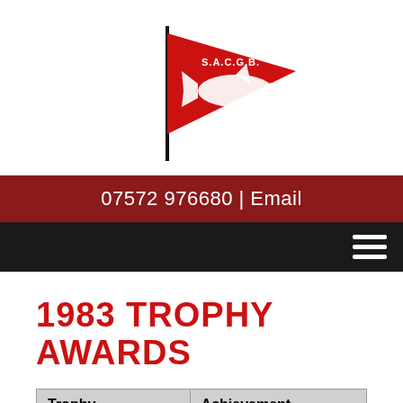[Figure (logo): S.A.C.G.B. pennant/flag logo — red triangular flag with white shark silhouette and text S.A.C.G.B. on a black flagpole]
07572 976680 | Email
| Trophy | Achievement |
| --- | --- |
| Mitchell-Hookf... | Best Shark of the... |